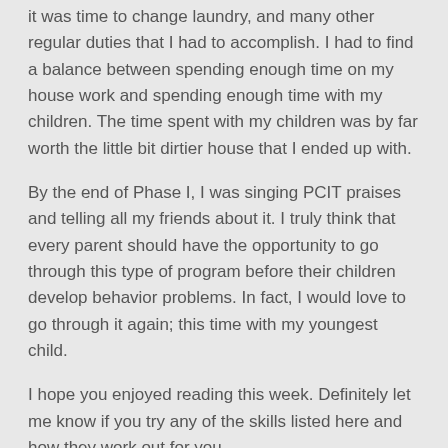it was time to change laundry, and many other regular duties that I had to accomplish.  I had to find a balance between spending enough time on my house work and spending enough time with my children.  The time spent with my children was by far worth the little bit dirtier house that I ended up with.
By the end of Phase I, I was singing PCIT praises and telling all my friends about it.  I truly think that every parent should have the opportunity to go through this type of program before their children develop behavior problems.  In fact, I would love to go through it again; this time with my youngest child.
I hope you enjoyed reading this week.  Definitely let me know if you try any of the skills listed here and how they work out for you.
[Figure (other): Tweet button with Twitter bird icon]
2 Comments